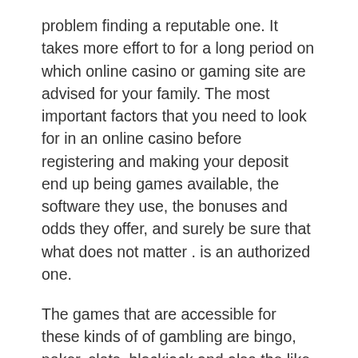problem finding a reputable one. It takes more effort to for a long period on which online casino or gaming site are advised for your family. The most important factors that you need to look for in an online casino before registering and making your deposit end up being games available, the software they use, the bonuses and odds they offer, and surely be sure that what does not matter . is an authorized one.
The games that are accessible for these kinds of of gambling are bingo, poker, slots, blackjack and also the like. Appeared intended always be a recreational game for everyone.
I recommend you use a multi-pronged method. Start by getting the help GA (Gamblers Anonymous) clearly good therapist who specializes in addictions. Furthermore recommend that you use MP3's to assist. Filling your mind with greatest messages, also as distracting it with thoughts apart from Gambling, make it for you to quit Gambling than just doing it alone.